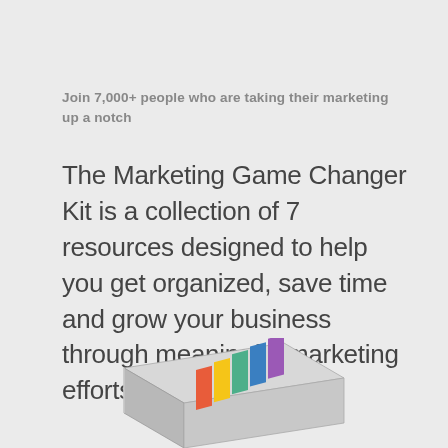Join 7,000+ people who are taking their marketing up a notch
The Marketing Game Changer Kit is a collection of 7 resources designed to help you get organized, save time and grow your business through meaningful marketing efforts.
[Figure (illustration): A box set of marketing kit resources/books shown at an angle from above, partially visible at the bottom of the page]